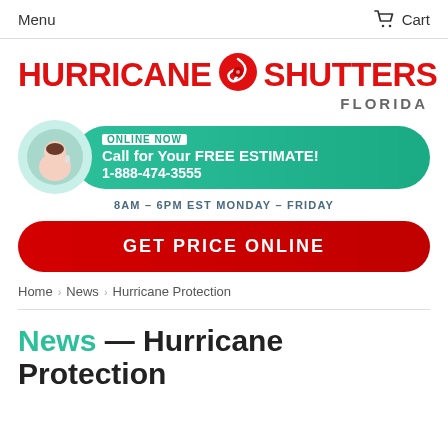Menu | Cart
[Figure (logo): Hurricane Shutters Florida logo with red text and red globe icon]
ONLINE NOW
Call for Your FREE ESTIMATE!
1-888-474-3555
8AM - 6PM EST MONDAY - FRIDAY
GET PRICE ONLINE
Home > News > Hurricane Protection
News — Hurricane Protection